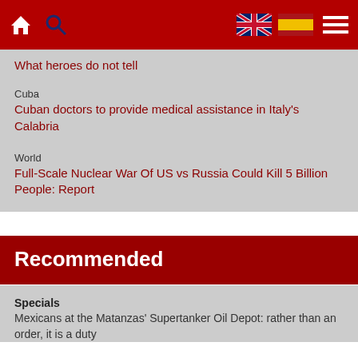Navigation bar with home, search, UK flag, Spain flag, and menu icons
What heroes do not tell
Cuba
Cuban doctors to provide medical assistance in Italy's Calabria
World
Full-Scale Nuclear War Of US vs Russia Could Kill 5 Billion People: Report
Recommended
Specials
Mexicans at the Matanzas' Supertanker Oil Depot: rather than an order, it is a duty